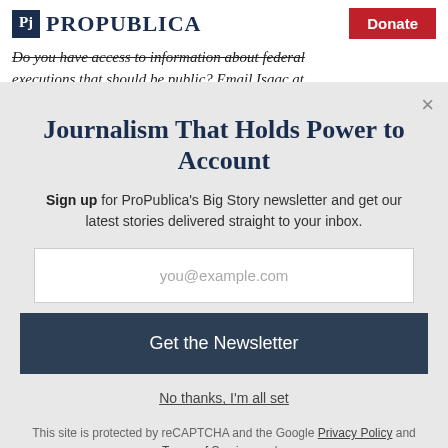ProPublica | Donate
Do you have access to information about federal executions that should be public? Email Isaac at
Journalism That Holds Power to Account
Sign up for ProPublica's Big Story newsletter and get our latest stories delivered straight to your inbox.
you@example.com
Get the Newsletter
No thanks, I'm all set
This site is protected by reCAPTCHA and the Google Privacy Policy and Terms of Service apply.